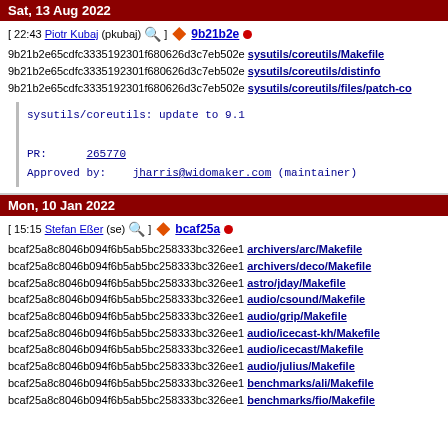Sat, 13 Aug 2022
[ 22:43 Piotr Kubaj (pkubaj) ] 9b21b2e
9b21b2e65cdfc3335192301f680626d3c7eb502e sysutils/coreutils/Makefile
9b21b2e65cdfc3335192301f680626d3c7eb502e sysutils/coreutils/distinfo
9b21b2e65cdfc3335192301f680626d3c7eb502e sysutils/coreutils/files/patch-co
sysutils/coreutils: update to 9.1

PR: 265770
Approved by: jharris@widomaker.com (maintainer)
Mon, 10 Jan 2022
[ 15:15 Stefan Eßer (se) ] bcaf25a
bcaf25a8c8046b094f6b5ab5bc258333bc326ee1 archivers/arc/Makefile
bcaf25a8c8046b094f6b5ab5bc258333bc326ee1 archivers/deco/Makefile
bcaf25a8c8046b094f6b5ab5bc258333bc326ee1 astro/jday/Makefile
bcaf25a8c8046b094f6b5ab5bc258333bc326ee1 audio/csound/Makefile
bcaf25a8c8046b094f6b5ab5bc258333bc326ee1 audio/grip/Makefile
bcaf25a8c8046b094f6b5ab5bc258333bc326ee1 audio/icecast-kh/Makefile
bcaf25a8c8046b094f6b5ab5bc258333bc326ee1 audio/icecast/Makefile
bcaf25a8c8046b094f6b5ab5bc258333bc326ee1 audio/julius/Makefile
bcaf25a8c8046b094f6b5ab5bc258333bc326ee1 benchmarks/ali/Makefile
bcaf25a8c8046b094f6b5ab5bc258333bc326ee1 benchmarks/fio/Makefile